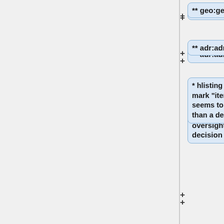** geo:geo
** adr:adr
* hlisting spec doesn't explicitly mark "item" as a class; this seems to be an oversight rather than a design decision
* all the attributes of the item are optional, including <code>fn</code>